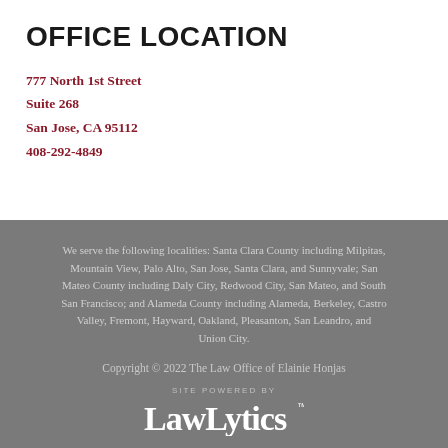OFFICE LOCATION
777 North 1st Street
Suite 268
San Jose, CA 95112
408-292-4849
We serve the following localities: Santa Clara County including Milpitas, Mountain View, Palo Alto, San Jose, Santa Clara, and Sunnyvale; San Mateo County including Daly City, Redwood City, San Mateo, and South San Francisco; and Alameda County including Alameda, Berkeley, Castro Valley, Fremont, Hayward, Oakland, Pleasanton, San Leandro, and Union City.
Copyright © 2022 The Law Office of Elainie Honjas
[Figure (logo): LawLytics logo with 'SITE POWERED BY' label above]